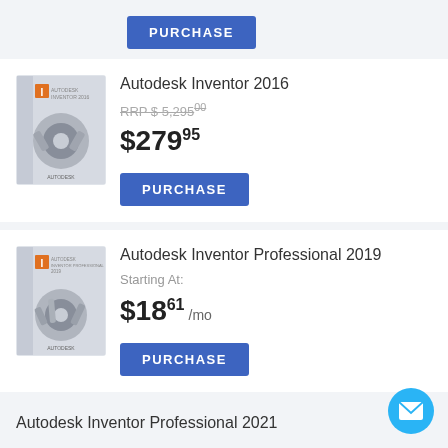PURCHASE
Autodesk Inventor 2016
RRP $ 5,295.00
$279.95
PURCHASE
Autodesk Inventor Professional 2019
Starting At:
$18.61 /mo
PURCHASE
Autodesk Inventor Professional 2021